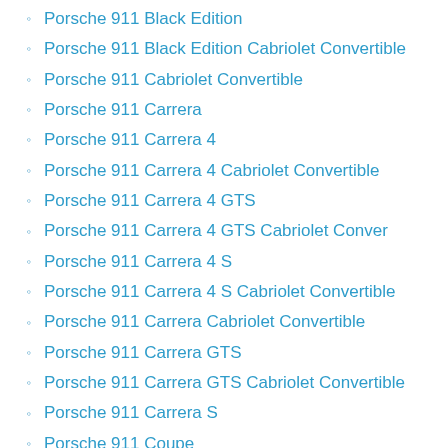Porsche 911 Black Edition
Porsche 911 Black Edition Cabriolet Convertible
Porsche 911 Cabriolet Convertible
Porsche 911 Carrera
Porsche 911 Carrera 4
Porsche 911 Carrera 4 Cabriolet Convertible
Porsche 911 Carrera 4 GTS
Porsche 911 Carrera 4 GTS Cabriolet Conver
Porsche 911 Carrera 4 S
Porsche 911 Carrera 4 S Cabriolet Convertible
Porsche 911 Carrera Cabriolet Convertible
Porsche 911 Carrera GTS
Porsche 911 Carrera GTS Cabriolet Convertible
Porsche 911 Carrera S
Porsche 911 Coupe
Porsche 911 GT2 RS
Porsche 911 GT3 RS 4.0